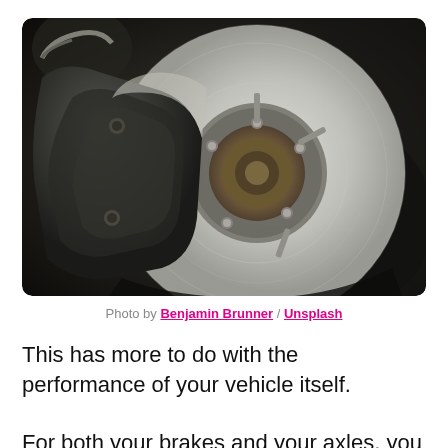[Figure (photo): Close-up photograph of a car brake disc rotor and caliper assembly on a wheel hub, dark workshop background]
Photo by Benjamin Brunner / Unsplash
This has more to do with the performance of your vehicle itself.
For both your brakes and your axles, you can have